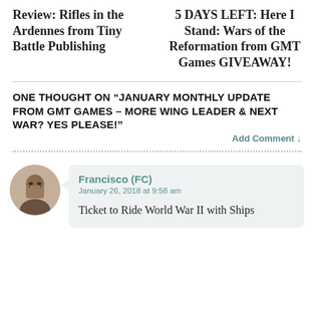Review: Rifles in the Ardennes from Tiny Battle Publishing
5 DAYS LEFT: Here I Stand: Wars of the Reformation from GMT Games GIVEAWAY!
ONE THOUGHT ON “JANUARY MONTHLY UPDATE FROM GMT GAMES – MORE WING LEADER & NEXT WAR? YES PLEASE!”
Add Comment ↓
Francisco (FC)
January 26, 2018 at 9:58 am
Ticket to Ride World War II with Ships